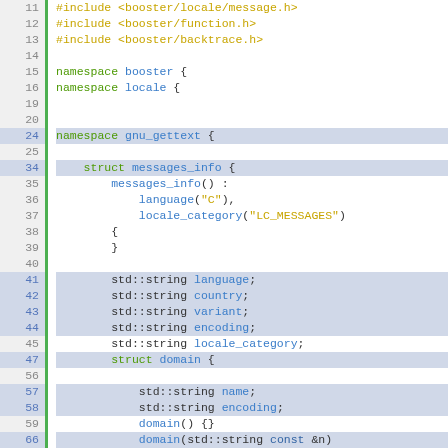[Figure (screenshot): C++ source code editor screenshot showing lines 11-73 with syntax highlighting. Green left border, line numbers in gutter with some highlighted in blue/gray. Code shows includes for booster locale, function, backtrace headers, namespace declarations for booster, locale, gnu_gettext, and struct messages_info definition with member variables and nested struct domain.]